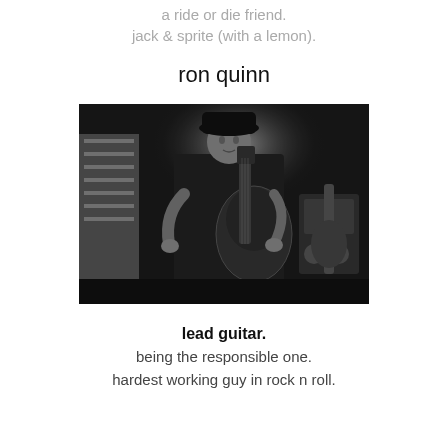a ride or die friend.
jack & sprite (with a lemon).
ron quinn
[Figure (photo): Black and white photograph of Ron Quinn, an older man wearing a black cowboy hat and vest, playing an electric guitar on stage.]
lead guitar.
being the responsible one.
hardest working guy in rock n roll.